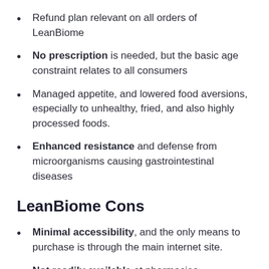Refund plan relevant on all orders of LeanBiome
No prescription is needed, but the basic age constraint relates to all consumers
Managed appetite, and lowered food aversions, especially to unhealthy, fried, and also highly processed foods.
Enhanced resistance and defense from microorganisms causing gastrointestinal diseases
LeanBiome Cons
Minimal accessibility, and the only means to purchase is through the main internet site.
Not readily available at pharmacies,